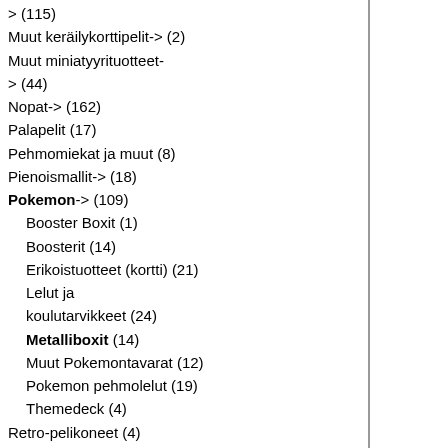> (115)
Muut keräilykorttipelit-> (2)
Muut miniatyyrituotteet-> (44)
Nopat-> (162)
Palapelit (17)
Pehmomiekat ja muut (8)
Pienoismallit-> (18)
Pokemon-> (109)
Booster Boxit (1)
Boosterit (14)
Erikoistuotteet (kortti) (21)
Lelut ja koulutarvikkeet (24)
Metalliboxit (14)
Muut Pokemontavarat (12)
Pokemon pehmolelut (19)
Themedeck (4)
Retro-pelikoneet (4)
Roolipelit-> (220)
Sarjakuvat-> (64)
Sekalaiset-> (183)
TARJOUSKAMAT (13)
Vanguard (1)
Warmachine/Hordes-> (127)
Yu-Gi-oh!-> (8)